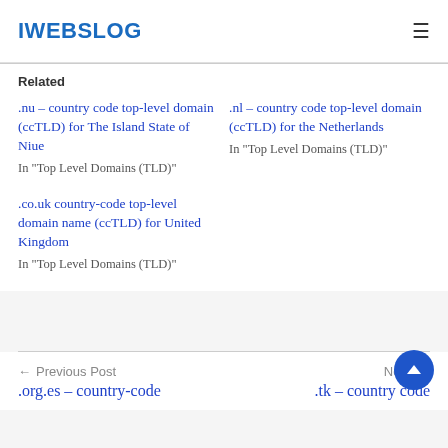IWEBSLOG
Related
.nu – country code top-level domain (ccTLD) for The Island State of Niue
In "Top Level Domains (TLD)"
.nl – country code top-level domain (ccTLD) for the Netherlands
In "Top Level Domains (TLD)"
.co.uk country-code top-level domain name (ccTLD) for United Kingdom
In "Top Level Domains (TLD)"
← Previous Post .org.es – country-code   Next Po .tk – country code